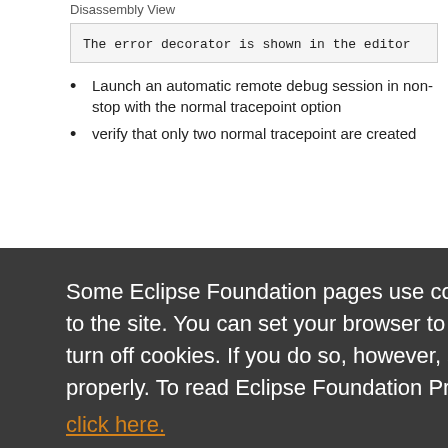The error decorator is shown in the editor
Launch an automatic remote debug session in non-stop with the normal tracepoint option
verify that only two normal tracepoint are created
Some Eclipse Foundation pages use cookies to better serve you when you return to the site. You can set your browser to notify you before you receive a cookie or turn off cookies. If you do so, however, some areas of some sites may not function properly. To read Eclipse Foundation Privacy Policy click here.
different threads are selected